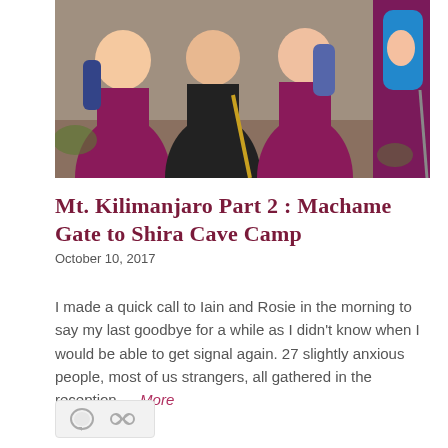[Figure (photo): Group of hikers wearing purple/magenta long-sleeve shirts and backpacks, posing together outdoors on what appears to be the start of a mountain hike. Some hold trekking poles.]
Mt. Kilimanjaro Part 2 : Machame Gate to Shira Cave Camp
October 10, 2017
I made a quick call to Iain and Rosie in the morning to say my last goodbye for a while as I didn't know when I would be able to get signal again. 27 slightly anxious people, most of us strangers, all gathered in the reception … More